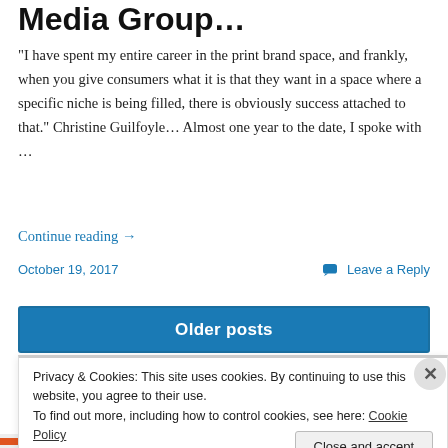Media Group...
“I have spent my entire career in the print brand space, and frankly, when you give consumers what it is that they want in a space where a specific niche is being filled, there is obviously success attached to that.” Christine Guilfoyle… Almost one year to the date, I spoke with …
Continue reading →
October 19, 2017
Leave a Reply
Older posts
Privacy & Cookies: This site uses cookies. By continuing to use this website, you agree to their use.
To find out more, including how to control cookies, see here: Cookie Policy
Close and accept